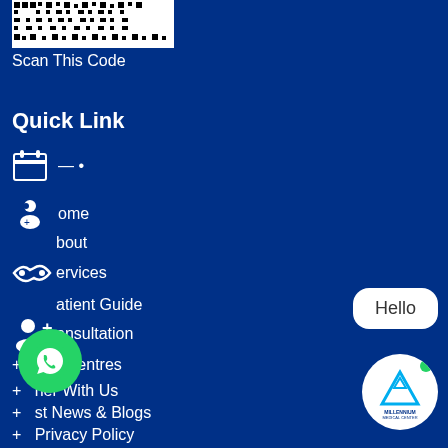[Figure (other): QR code partially visible at top of page]
Scan This Code
Quick Link
— • (calendar icon)
Home (doctor icon)
About
Services (handshake icon)
Patient Guide
Consultation (add user icon)
+ Our Centres
+ Partner With Us
+ Latest News & Blogs
+ Privacy Policy
[Figure (other): WhatsApp floating button (green circle with WhatsApp logo)]
[Figure (other): Hello chat bubble (white rounded rectangle with 'Hello' text)]
[Figure (logo): Millennium Medical Center logo in white circle with green online dot]